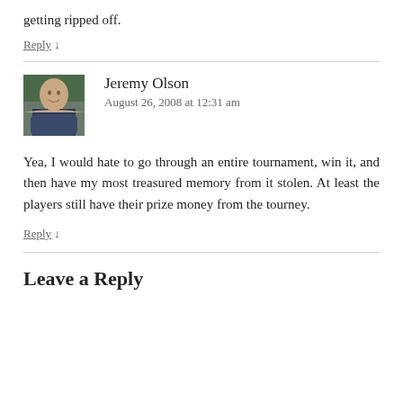getting ripped off.
Reply ↓
Jeremy Olson
August 26, 2008 at 12:31 am
Yea, I would hate to go through an entire tournament, win it, and then have my most treasured memory from it stolen. At least the players still have their prize money from the tourney.
Reply ↓
Leave a Reply